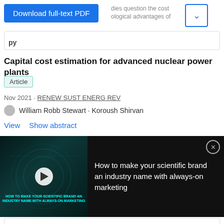[Figure (screenshot): Download full-text PDF button (blue) and dropdown button with arrow, with partial overlay text about studies questioning cost and technological advantages]
Capital cost estimation for advanced nuclear power plants
Article
Nov 2021 · RENEW SUST ENERG REV
William Robb Stewart · Koroush Shirvan
View   Show abstract
[Figure (screenshot): Advertisement overlay on dark background: video thumbnail for 'How to make your scientific brand an industry name with always-on marketing' with play button, and text on the right side. Close button in top-right corner.]
[Figure (photo): Thermo Fisher Scientific advertisement showing Laser Capture Microdissection instrument with product name]